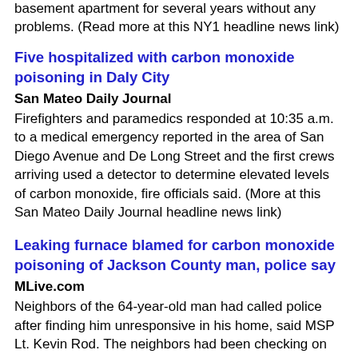unsafe. Pienado said that they've lived in the same basement apartment for several years without any problems. (Read more at this NY1 headline news link)
Five hospitalized with carbon monoxide poisoning in Daly City
San Mateo Daily Journal
Firefighters and paramedics responded at 10:35 a.m. to a medical emergency reported in the area of San Diego Avenue and De Long Street and the first crews arriving used a detector to determine elevated levels of carbon monoxide, fire officials said. (More at this San Mateo Daily Journal headline news link)
Leaking furnace blamed for carbon monoxide poisoning of Jackson County man, police say
MLive.com
Neighbors of the 64-year-old man had called police after finding him unresponsive in his home, said MSP Lt. Kevin Rod. The neighbors had been checking on the man after not hearing from him for a while, Rod said. (More at this MLive,com headline news link)